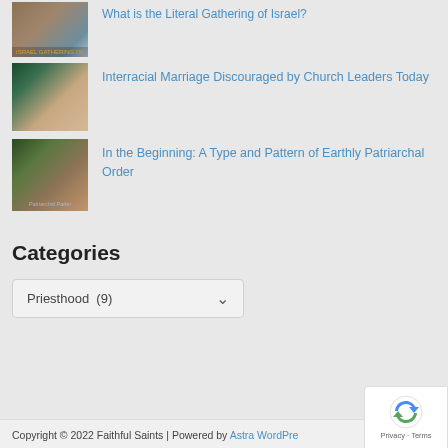[Figure (photo): Partial thumbnail of wagon train / Israel gathering image at top, partially cropped]
What is the Literal Gathering of Israel?
[Figure (photo): Thumbnail of interracial couple]
Interracial Marriage Discouraged by Church Leaders Today
[Figure (photo): Thumbnail of painting of biblical patriarchal scene with text overlay 'Patriarchal Pattern']
In the Beginning: A Type and Pattern of Earthly Patriarchal Order
Categories
Priesthood  (9)
Copyright © 2022 Faithful Saints | Powered by Astra WordPress